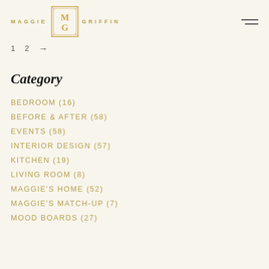MAGGIE GRIFFIN [logo]
1  2  →
Category
BEDROOM (16)
BEFORE & AFTER (58)
EVENTS (58)
INTERIOR DESIGN (57)
KITCHEN (19)
LIVING ROOM (8)
MAGGIE'S HOME (52)
MAGGIE'S MATCH-UP (7)
MOOD BOARDS (27)